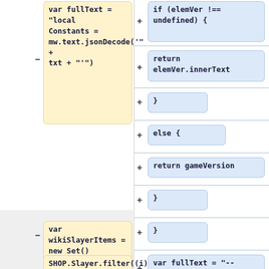[Figure (screenshot): Code diff view showing two columns. Left column shows removed/changed code blocks in yellow highlighting, right column shows added code blocks in blue highlighting. Code snippets include JavaScript code fragments related to text parsing and game version retrieval.]
var fullText = "local Constants = mw.text.jsonDecode('" + txt + "')"
if (elemVer !== undefined) {
return elemVer.innerText
}
else {
return gameVersion
}
}
var wikiSlayerItems = new Set()
var fullText = "-- Version: " + getGameVersion()
SHOP.Slayer.filter((i) => i.contains.items !== undefined &&